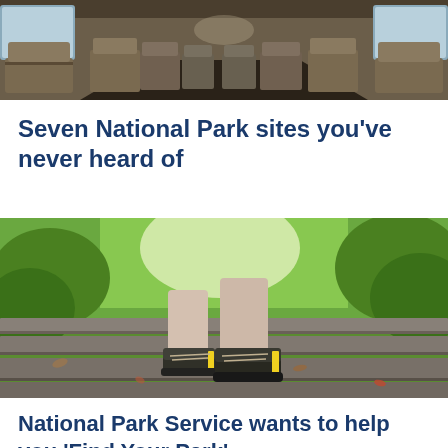[Figure (photo): Interior of an old bus or train car with rows of worn seats visible]
Seven National Park sites you've never heard of
[Figure (photo): Close-up low angle photo of a person hiking up stone steps outdoors, wearing dark hiking shoes with yellow accents, surrounded by green foliage]
National Park Service wants to help you 'Find Your Park'